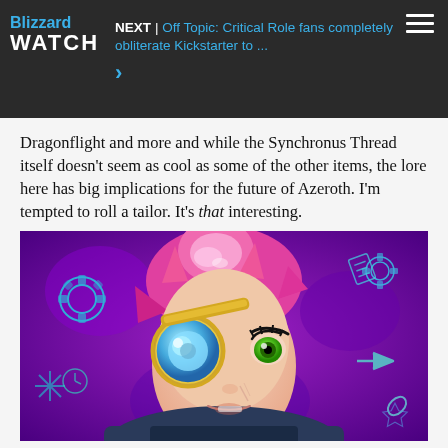Blizzard WATCH  NEXT | Off Topic: Critical Role fans completely obliterate Kickstarter to ...  >
Dragonflight and more and while the Synchronus Thread itself doesn’t seem as cool as some of the other items, the lore here has big implications for the future of Azeroth. I’m tempted to roll a tailor. It’s that interesting.
[Figure (illustration): Digital illustration of a gnome or goblin character with pink spiky hair, a monocle/mechanical eye over one eye, green eye visible on the other side, wearing dark armor, surrounded by glowing cyan/teal magical symbols, gears, arrows, and runes on a purple/magenta background.]